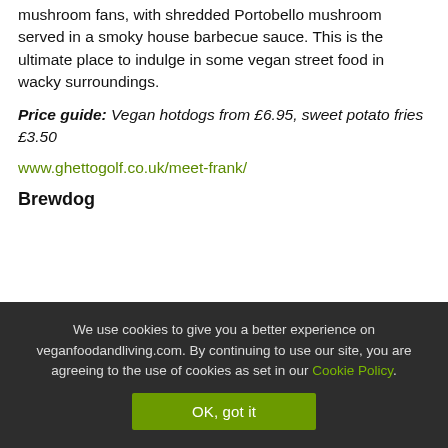mushroom fans, with shredded Portobello mushroom served in a smoky house barbecue sauce. This is the ultimate place to indulge in some vegan street food in wacky surroundings.
Price guide: Vegan hotdogs from £6.95, sweet potato fries £3.50
www.ghettogolf.co.uk/meet-frank/
Brewdog
We use cookies to give you a better experience on veganfoodandliving.com. By continuing to use our site, you are agreeing to the use of cookies as set in our Cookie Policy.
OK, got it